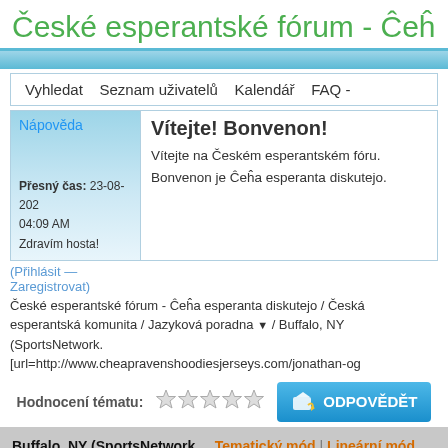České esperantské fórum - Ĉeĥ
Vyhledat   Seznam uživatelů   Kalendář   FAQ -
Nápověda
Vítejte! Bonvenon!
Vítejte na Českém esperantském fóru.
Bonvenon je Ĉeĥa esperanta diskutejo.
Přesný čas: 23-08-202
04:09 AM
Zdravím hosta!
(Přihlásit —
Zaregistrovat)
České esperantské fórum - Ĉeĥa esperanta diskutejo / Česká esperantská komunita / Jazyková poradna ▼ / Buffalo, NY (SportsNetwork.
[url=http://www.cheapravenshoodiesjerseys.com/jonathan-og
Hodnocení tématu:
ODPOVĚDĚT
Buffalo, NY (SportsNetwork.  Tematický mód | Lineární mód
[url=http://www.cheapravenshoodiesjerseys.com/jonathan-og